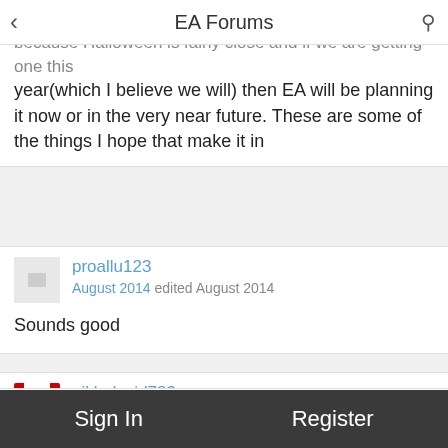EA Forums
Decided to bump this as I wanted to get it up, mainly because Halloween is fairly close and if we are getting one this year(which I believe we will) then EA will be planning it now or in the very near future. These are some of the things I hope that make it in
proallu123 — August 2014 edited August 2014
Sounds good
oikledavid783 — August 2014 edited August 2014
Hugo Simpson is a must have. I want him sooooooo bad. If we do get him I'm hoping he has a visual task to make pigeon-rats.
furrykiltman — August 2014 edited August 2014
Sign In   Register